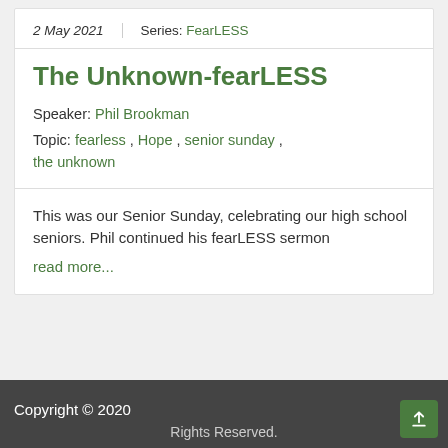2 May 2021  |  Series: FearLESS
The Unknown-fearLESS
Speaker: Phil Brookman
Topic: fearless , Hope , senior sunday , the unknown
This was our Senior Sunday, celebrating our high school seniors. Phil continued his fearLESS sermon read more...
Copyright © 2020  Rights Reserved.